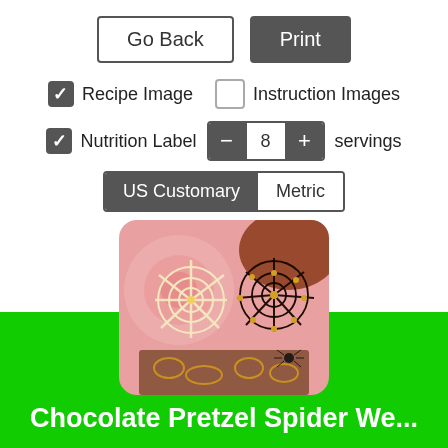[Figure (screenshot): UI controls: Go Back and Print buttons, Recipe Image checkbox (checked), Instruction Images checkbox (unchecked), Nutrition Label checkbox (checked) with servings stepper set to 8, US Customary / Metric toggle with US Customary selected]
[Figure (photo): Photo of chocolate spider web cookies on a pink background]
Chocolate Pretzel Spider We...